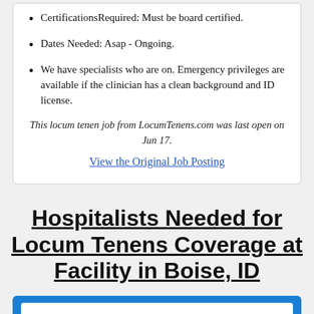CertificationsRequired: Must be board certified.
Dates Needed: Asap - Ongoing.
We have specialists who are on. Emergency privileges are available if the clinician has a clean background and ID license.
This locum tenen job from LocumTenens.com was last open on Jun 17.
View the Original Job Posting
Hospitalists Needed for Locum Tenens Coverage at Facility in Boise, ID
This hospitalist job was previously